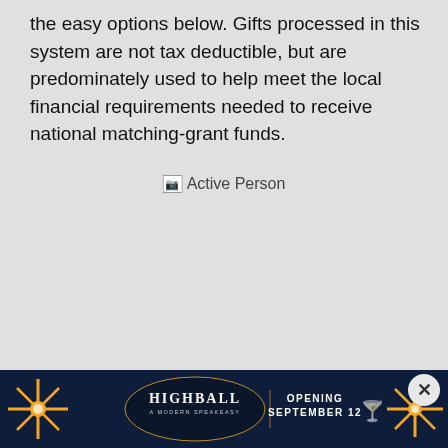the easy options below. Gifts processed in this system are not tax deductible, but are predominately used to help meet the local financial requirements needed to receive national matching-grant funds.
[Figure (illustration): Broken image placeholder labeled 'Active Person']
[Figure (photo): Advertisement banner for Highball Modern Speakeasy, Opening September 12, with dark blue background and orange decorative elements]